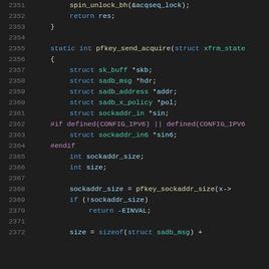[Figure (screenshot): Source code listing (C/kernel code) showing lines 2351-2372, including a function pfkey_send_acquire with struct declarations and preprocessor directives for CONFIG_IPV6.]